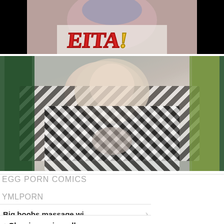[Figure (photo): Screenshot of a video with 'EITA!' text on a cartoon-style image, black bars on sides]
[Figure (photo): Screenshot of a video showing a person in a black and white striped top, green background]
EGG PORN COMICS
YMLPORN
Big boobs massage wi... >
< Classic movie mallu a...